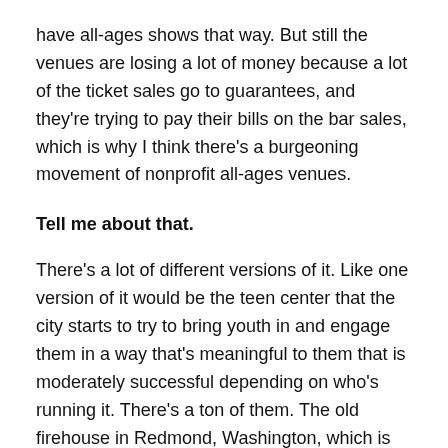have all-ages shows that way. But still the venues are losing a lot of money because a lot of the ticket sales go to guarantees, and they're trying to pay their bills on the bar sales, which is why I think there's a burgeoning movement of nonprofit all-ages venues.
Tell me about that.
There's a lot of different versions of it. Like one version of it would be the teen center that the city starts to try to bring youth in and engage them in a way that's meaningful to them that is moderately successful depending on who's running it. There's a ton of them. The old firehouse in Redmond, Washington, which is actually—when you talk to Shannon Roach you can ask her about that, because she used to work there. And in the Midwest there's a bunch of them. Usually in affluent areas where the taxbase